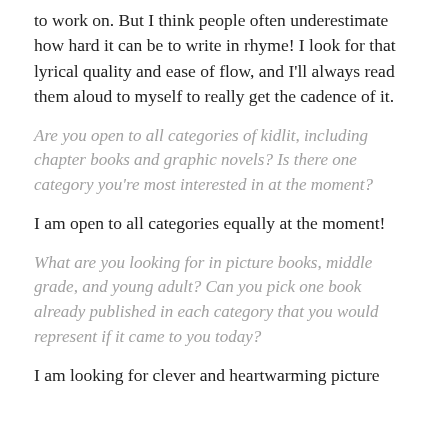to work on. But I think people often underestimate how hard it can be to write in rhyme! I look for that lyrical quality and ease of flow, and I'll always read them aloud to myself to really get the cadence of it.
Are you open to all categories of kidlit, including chapter books and graphic novels? Is there one category you're most interested in at the moment?
I am open to all categories equally at the moment!
What are you looking for in picture books, middle grade, and young adult? Can you pick one book already published in each category that you would represent if it came to you today?
I am looking for clever and heartwarming picture